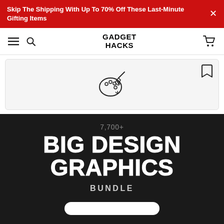Skip The Shipping With Up To 70% Off These Last-Minute Gifting Items
GADGET HACKS
[Figure (screenshot): Product card area with a paint palette and brush icon on a light gray background, with a bookmark icon in the top right corner]
7,700+
BIG DESIGN GRAPHICS
BUNDLE